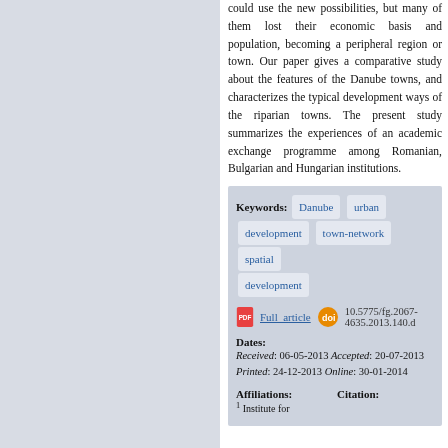could use the new possibilities, but many of them lost their economic basis and population, becoming a peripheral region or town. Our paper gives a comparative study about the features of the Danube towns, and characterizes the typical development ways of the riparian towns. The present study summarizes the experiences of an academic exchange programme among Romanian, Bulgarian and Hungarian institutions.
Keywords: Danube urban development town-network spatial development
Full article  10.5775/fg.2067-4635.2013.140.d
Dates: Received: 06-05-2013 Accepted: 20-07-2013 Printed: 24-12-2013 Online: 30-01-2014
Affiliations: 1 Institute for
Citation: